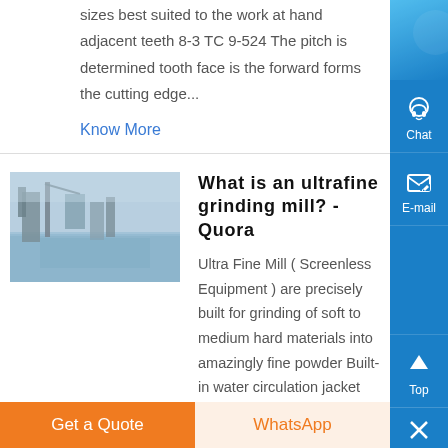sizes best suited to the work at hand adjacent teeth 8-3 TC 9-524 The pitch is determined tooth face is the forward forms the cutting edge...
Know More
What is an ultrafine grinding mill? - Quora
[Figure (photo): Thumbnail photo of an industrial facility near water, likely a grinding mill plant]
Ultra Fine Mill ( Screenless Equipment ) are precisely built for grinding of soft to medium hard materials into amazingly fine powder Built-in water circulation jacket retains grinding temperature lower than otherwise, permitting handling of some heat sensitive